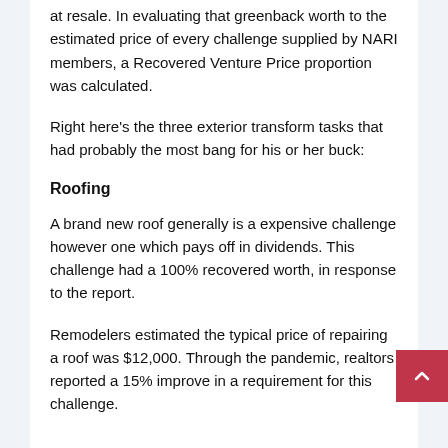at resale. In evaluating that greenback worth to the estimated price of every challenge supplied by NARI members, a Recovered Venture Price proportion was calculated.
Right here's the three exterior transform tasks that had probably the most bang for his or her buck:
Roofing
A brand new roof generally is a expensive challenge however one which pays off in dividends. This challenge had a 100% recovered worth, in response to the report.
Remodelers estimated the typical price of repairing a roof was $12,000. Through the pandemic, realtors reported a 15% improve in a requirement for this challenge.